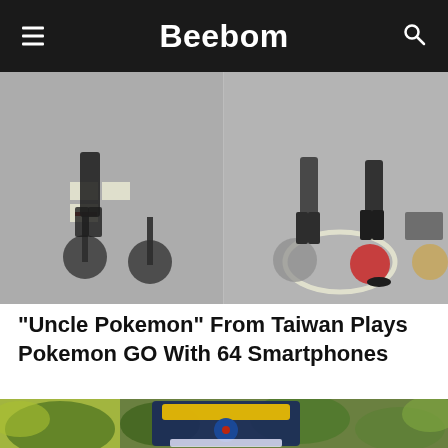Beebom
[Figure (photo): Person riding a bicycle on a street with road markings, viewed from behind. Multiple cyclists visible. Split image showing two similar scenes.]
“Uncle Pokemon” From Taiwan Plays Pokemon GO With 64 Smartphones
[Figure (photo): Pokemon GO Fest 2020 logo displayed outdoors with greenery in the background.]